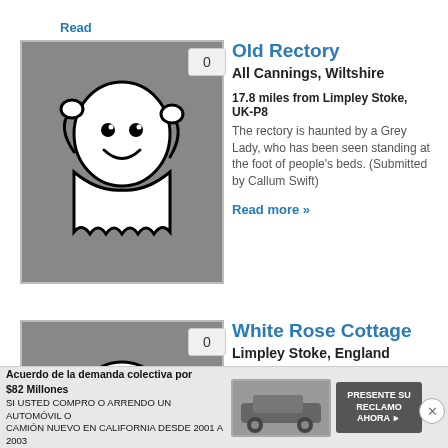Read more »
Old Rectory
All Cannings, Wiltshire
[Figure (illustration): Ghost icon on grey background with badge showing 0]
17.8 miles from Limpley Stoke, UK-P8
The rectory is haunted by a Grey Lady, who has been seen standing at the foot of people's beds. (Submitted by Callum Swift)
Read more »
White Rose Cottage
Limpley Stoke, England
[Figure (illustration): Ghost icon on grey background with badge showing 0]
18 miles from Limpley Stoke, UK-P8
The apparition of a lady in a black dress has been moving around the house at night as if she is protecting something. (Submitted by Callum Swift)
Acuerdo de la demanda colectiva por $82 Millones SI USTED COMPRO O ARRENDO UN AUTOMÓVIL O CAMIÓN NUEVO EN CALIFORNIA DESDE 2001 A 2003 PRESENTE SU RECLAMO AHORA